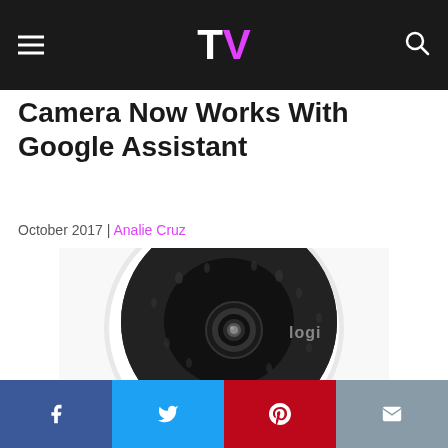TV (logo) — navigation header with hamburger menu and search icon
Camera Now Works With Google Assistant
October 2017 | Analie Cruz
[Figure (photo): Logitech Circle 2 security camera with water droplets on its lens, white circular housing, showing the 'logi' brand logo on the right side of the camera face]
[Figure (infographic): Social share buttons: Facebook (dark blue), Twitter (light blue), Pinterest (red), Email (gray)]